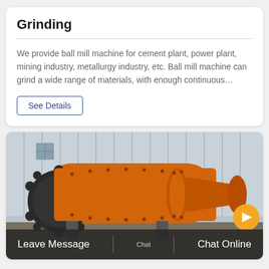Grinding
We provide ball mill machine for cement plant, power plant, mining industry, metallurgy industry, etc. Ball mill machine can grind a wide range of materials, with enough continuous…
See Details
[Figure (photo): Large orange industrial ball mill machine photographed outdoors near a industrial building with corrugated metal walls]
Leave Message | Chat Online